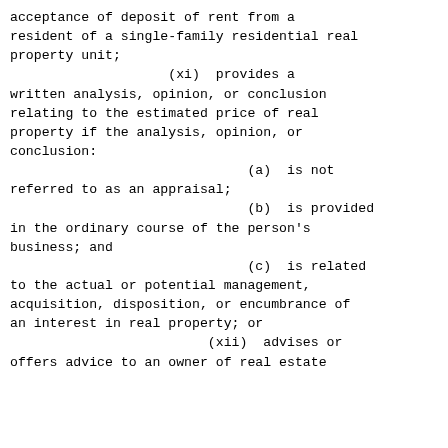acceptance of deposit of rent from a resident of a single-family residential real property unit;
            (xi)  provides a written analysis, opinion, or conclusion relating to the estimated price of real property if the analysis, opinion, or conclusion:
                        (a)  is not referred to as an appraisal;
                        (b)  is provided in the ordinary course of the person's business; and
                        (c)  is related to the actual or potential management, acquisition, disposition, or encumbrance of an interest in real property; or
                   (xii)  advises or offers advice to an owner of real estate